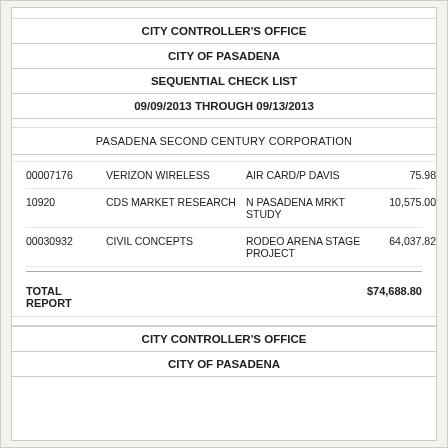CITY CONTROLLER'S OFFICE
CITY OF PASADENA
SEQUENTIAL CHECK LIST
09/09/2013 THROUGH 09/13/2013
PASADENA SECOND CENTURY CORPORATION
| Check# | Payee | Description | Amount |
| --- | --- | --- | --- |
| 00007176 | VERIZON WIRELESS | AIR CARD/P DAVIS | 75.98 |
| 10920 | CDS MARKET RESEARCH | N PASADENA MRKT STUDY | 10,575.00 |
| 00030932 | CIVIL CONCEPTS | RODEO ARENA STAGE PROJECT | 64,037.82 |
TOTAL REPORT   $74,688.80
CITY CONTROLLER'S OFFICE
CITY OF PASADENA